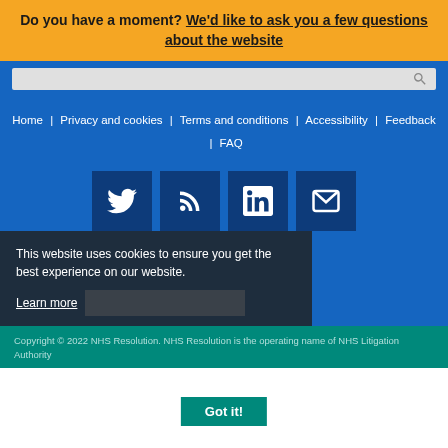Do you have a moment? We'd like to ask you a few questions about the website
[Figure (screenshot): Search bar with magnifying glass icon on blue background]
Home | Privacy and cookies | Terms and conditions | Accessibility | Feedback | FAQ
[Figure (infographic): Social media icons: Twitter, RSS feed, LinkedIn, Email on dark blue square buttons]
This website uses cookies to ensure you get the best experience on our website. Learn more
Copyright © 2022 NHS Resolution. NHS Resolution is the operating name of NHS Litigation Authority